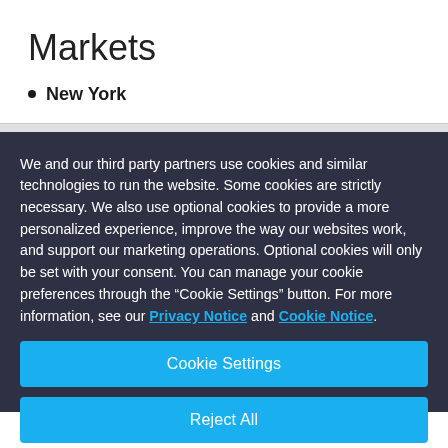Markets
New York
We and our third party partners use cookies and similar technologies to run the website. Some cookies are strictly necessary. We also use optional cookies to provide a more personalized experience, improve the way our websites work, and support our marketing operations. Optional cookies will only be set with your consent. You can manage your cookie preferences through the “Cookie Settings” button. For more information, see our Privacy Notice and Cookie Notice.
Cookie Settings
Reject All